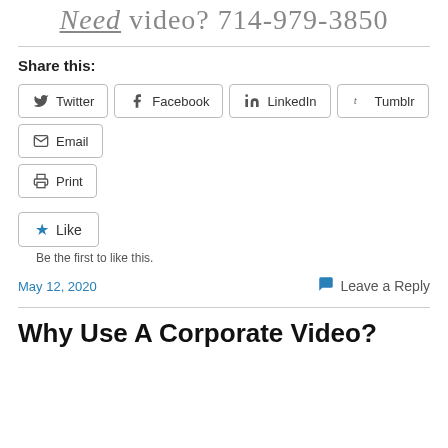Need video? 714-979-3850
Share this:
Twitter  Facebook  LinkedIn  Tumblr  Email  Print
Like  Be the first to like this.
May 12, 2020   Leave a Reply
Why Use A Corporate Video?